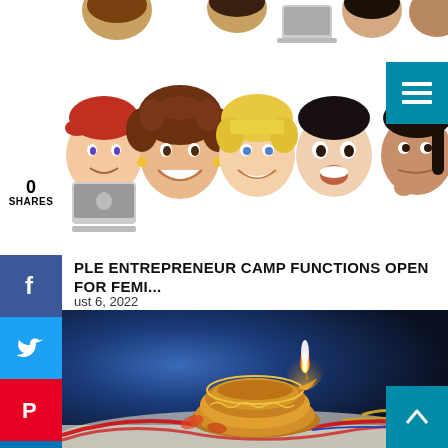[Figure (illustration): Row of animated memoji/Bitmoji character faces including a person with laptop, curly-haired woman, blonde woman, Asian man, and a thinking person, shown as a horizontal strip at the top of the page]
0
SHARES
[Figure (infographic): Vertical social sharing sidebar with colored buttons: Facebook (blue, f icon), Twitter (light blue, bird icon), Pinterest (red, P icon), LinkedIn (dark blue, in icon), Email (green, envelope icon), Print (grey, printer icon)]
[Figure (illustration): Hamburger menu icon (three horizontal lines) on teal/cyan background in upper right corner]
PLE ENTREPRENEUR CAMP FUNCTIONS OPEN FOR FEMI...
ust 6, 2022
[Figure (photo): Close-up photograph of a lit diya (oil lamp) made of gold/brass metal, with a bright white flame, placed on a decorative plate. Red and gold rakhi threads and flower petals are visible around it, with blue bokeh background.]
[Figure (other): Teal back-to-top button with upward chevron (^) in the bottom right corner]